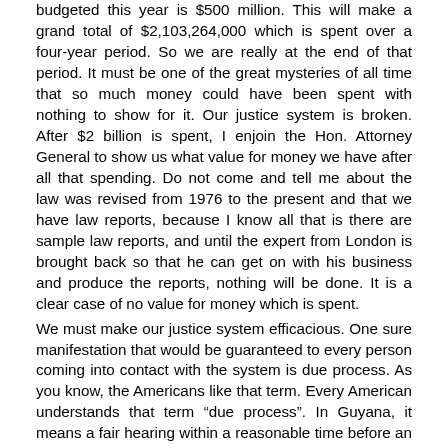budgeted this year is $500 million. This will make a grand total of $2,103,264,000 which is spent over a four-year period. So we are really at the end of that period. It must be one of the great mysteries of all time that so much money could have been spent with nothing to show for it. Our justice system is broken. After $2 billion is spent, I enjoin the Hon. Attorney General to show us what value for money we have after all that spending. Do not come and tell me about the law was revised from 1976 to the present and that we have law reports, because I know all that is there are sample law reports, and until the expert from London is brought back so that he can get on with his business and produce the reports, nothing will be done. It is a clear case of no value for money which is spent.
We must make our justice system efficacious. One sure manifestation that would be guaranteed to every person coming into contact with the system is due process. As you know, the Americans like that term. Every American understands that term “due process”. In Guyana, it means a fair hearing within a reasonable time before an impartial tribunal. My honourable sister and Member, Mdm. Priya Manickchand, when she spoke, reminded me with her contact with the system when the Hon. Member filed a motion to the High Court stating that there must be no criminal trial in this country unless it is done in chronological order of committal.